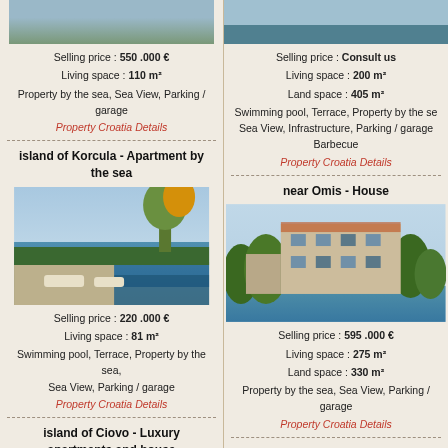[Figure (photo): Property by the sea - top partial image (left column)]
Selling price : 550 .000 €
Living space : 110 m²
Property by the sea, Sea View, Parking / garage
Property Croatia Details
island of Korcula - Apartment by the sea
[Figure (photo): Apartment by the sea with sun loungers and sea view]
Selling price : 220 .000 €
Living space : 81 m²
Swimming pool, Terrace, Property by the sea, Sea View, Parking / garage
Property Croatia Details
island of Ciovo - Luxury apartments and house
[Figure (photo): Luxury apartments and house on island of Ciovo]
[Figure (photo): Property - top partial image (right column)]
Selling price : Consult us
Living space : 200 m²
Land space : 405 m²
Swimming pool, Terrace, Property by the sea, Sea View, Infrastructure, Parking / garage, Barbecue
Property Croatia Details
near Omis - House
[Figure (photo): House near Omis with multi-story stone building by water]
Selling price : 595 .000 €
Living space : 275 m²
Land space : 330 m²
Property by the sea, Sea View, Parking / garage
Property Croatia Details
Zadar area - House
[Figure (photo): House in Zadar area - partial image at bottom]